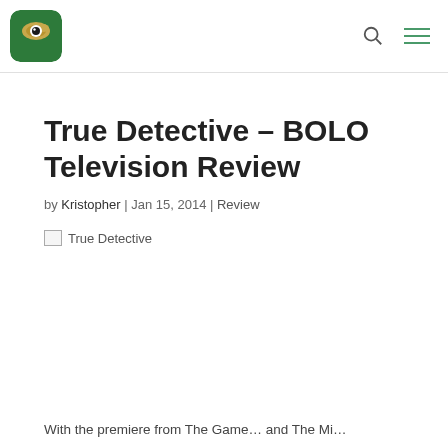BOLO Books logo navigation header
True Detective – BOLO Television Review
by Kristopher | Jan 15, 2014 | Review
[Figure (photo): Broken image placeholder labeled 'True Detective']
With the premiere from The Game... and The Mis...